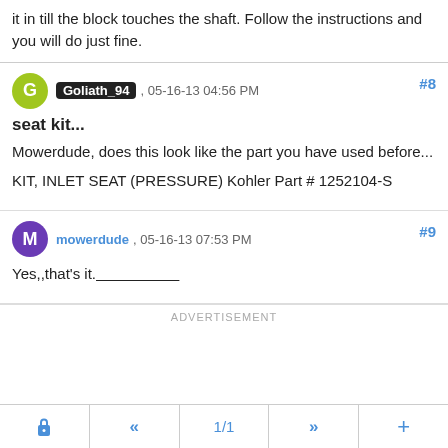it in till the block touches the shaft. Follow the instructions and you will do just fine.
Goliath_94 , 05-16-13 04:56 PM #8
seat kit...
Mowerdude, does this look like the part you have used before...
KIT, INLET SEAT (PRESSURE) Kohler Part # 1252104-S
mowerdude , 05-16-13 07:53 PM #9
Yes,,that's it.____________________
ADVERTISEMENT
🔒  «  1/1  »  +